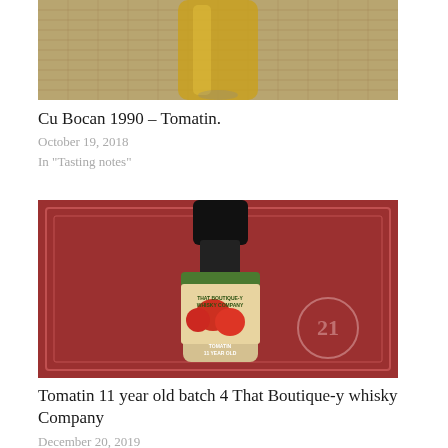[Figure (photo): Close-up photo of a whisky bottle (Cu Bocan 1990 Tomatin) with golden liquid, on a burlap/woven background]
Cu Bocan 1990 – Tomatin.
October 19, 2018
In "Tasting notes"
[Figure (photo): Photo of a That Boutique-y Whisky Company bottle with illustrated label showing tomatoes and cartoon characters, labeled Tomatin 11 Year Old, with number 21 visible on packaging]
Tomatin 11 year old batch 4 That Boutique-y whisky Company
December 20, 2019
In "Tasting notes"